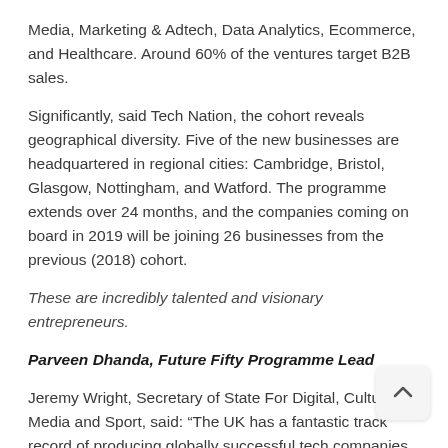Media, Marketing & Adtech, Data Analytics, Ecommerce, and Healthcare. Around 60% of the ventures target B2B sales.
Significantly, said Tech Nation, the cohort reveals geographical diversity. Five of the new businesses are headquartered in regional cities: Cambridge, Bristol, Glasgow, Nottingham, and Watford. The programme extends over 24 months, and the companies coming on board in 2019 will be joining 26 businesses from the previous (2018) cohort.
These are incredibly talented and visionary entrepreneurs.
Parveen Dhanda, Future Fifty Programme Lead
Jeremy Wright, Secretary of State For Digital, Culture, Media and Sport, said: “The UK has a fantastic track record of producing globally successful tech companies and I’m pleased to see another diverse and impressive group of firms in Tech Nation’s 2019 Future Fifty Programme.